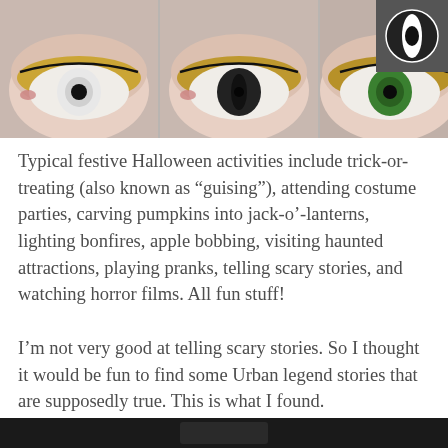[Figure (photo): Three close-up photos of eyes with dramatic makeup and different colored contact lenses (white, dark/cat-eye, green), arranged side by side with a small circular logo in the top right corner on a dark background.]
Typical festive Halloween activities include trick-or-treating (also known as “guising”), attending costume parties, carving pumpkins into jack-o’-lanterns, lighting bonfires, apple bobbing, visiting haunted attractions, playing pranks, telling scary stories, and watching horror films. All fun stuff!
I’m not very good at telling scary stories. So I thought it would be fun to find some Urban legend stories that are supposedly true. This is what I found.
[Figure (photo): Bottom strip showing the beginning of another image, dark background.]